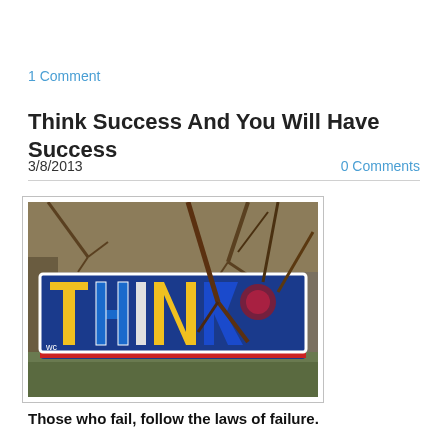1 Comment
Think Success And You Will Have Success
3/8/2013
0 Comments
[Figure (photo): Outdoor photograph of a graffiti mural spelling 'THINK' in colorful letters (blue, yellow, red) on what appears to be a concrete surface or wall, surrounded by dry brush and tree branches.]
Those who fail, follow the laws of failure.